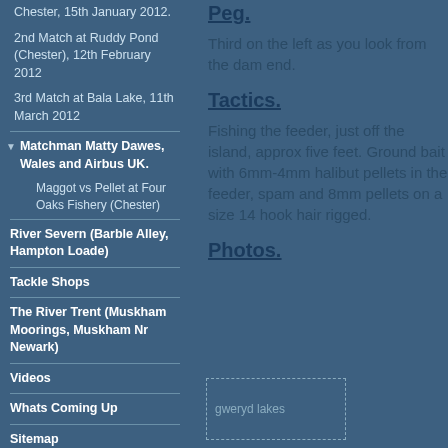Chester, 15th January 2012.
2nd Match at Ruddy Pond (Chester), 12th February 2012
3rd Match at Bala Lake, 11th March 2012
Matchman Matty Dawes, Wales and Airbus UK.
Maggot vs Pellet at Four Oaks Fishery (Chester)
River Severn (Barble Alley, Hampton Loade)
Tackle Shops
The River Trent (Muskham Moorings, Muskham Nr Newark)
Videos
Whats Coming Up
Sitemap
Peg.
Third on the left as you look from the dam end.
Tactics.
Fishing the feeder, just off the island, approx five feet. Ground bait with 6mm-4mm halibut pellets in the feeder, spam and 8mm pellets on a size 14 hook hair rigged.
Photos.
[Figure (other): Thumbnail image placeholder labeled 'gweryd lakes']